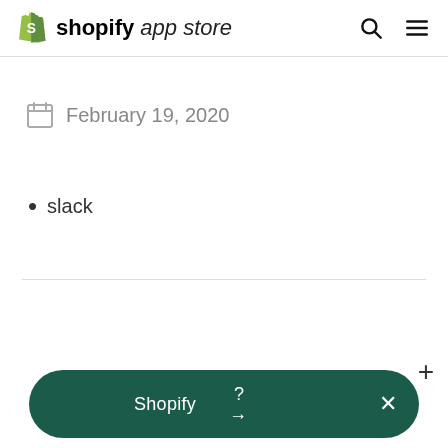shopify app store
February 19, 2020
slack
[Figure (screenshot): Bottom navigation bar with dark green pill shape, showing Shopify, ?, arrow, and X icons, plus a + icon above]